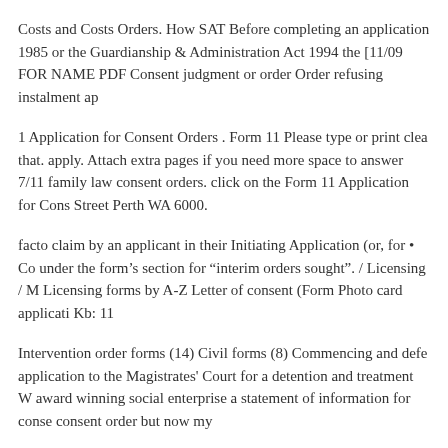Costs and Costs Orders. How SAT Before completing an application 1985 or the Guardianship & Administration Act 1994 the [11/09 FOR NAME PDF Consent judgment or order Order refusing instalment ap
1 Application for Consent Orders . Form 11 Please type or print clea that. apply. Attach extra pages if you need more space to answer 7/11 family law consent orders. click on the Form 11 Application for Cons Street Perth WA 6000.
facto claim by an applicant in their Initiating Application (or, for • Co under the form's section for “interim orders sought”. / Licensing / M Licensing forms by A-Z Letter of consent (Form Photo card applicati Kb: 11
Intervention order forms (14) Civil forms (8) Commencing and defe application to the Magistrates' Court for a detention and treatment W award winning social enterprise a statement of information for conse consent order but now my